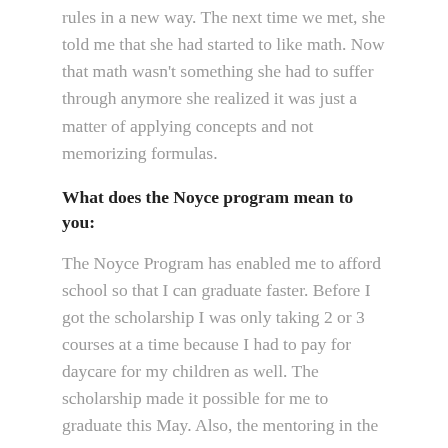rules in a new way. The next time we met, she told me that she had started to like math. Now that math wasn't something she had to suffer through anymore she realized it was just a matter of applying concepts and not memorizing formulas.
What does the Noyce program mean to you:
The Noyce Program has enabled me to afford school so that I can graduate faster. Before I got the scholarship I was only taking 2 or 3 courses at a time because I had to pay for daycare for my children as well. The scholarship made it possible for me to graduate this May. Also, the mentoring in the